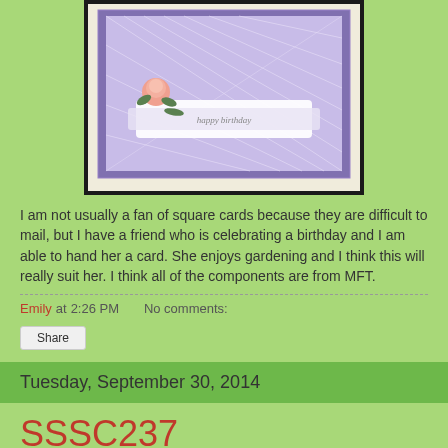[Figure (photo): Photo of a handmade square birthday card with purple background, lattice pattern, pink rose, and 'happy birthday' text on a white label]
I am not usually a fan of square cards because they are difficult to mail, but I have a friend who is celebrating a birthday and I am able to hand her a card. She enjoys gardening and I think this will really suit her. I think all of the components are from MFT.
Emily at 2:26 PM    No comments:
Share
Tuesday, September 30, 2014
SSSC237
[Figure (photo): Partial image of another card at the bottom of the page]